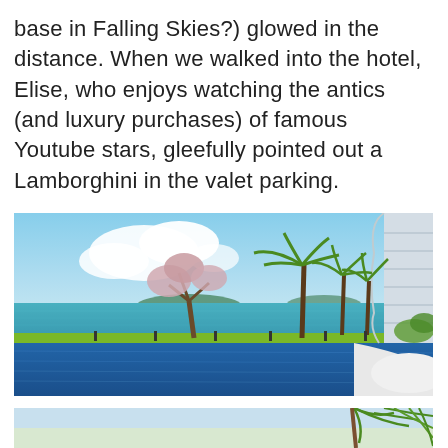base in Falling Skies?) glowed in the distance. When we walked into the hotel, Elise, who enjoys watching the antics (and luxury purchases) of famous Youtube stars, gleefully pointed out a Lamborghini in the valet parking.
[Figure (photo): Outdoor infinity pool at a luxury resort, with tall palm trees lining the edge, turquoise sea and islands visible in the background, blue sky with clouds, and a curved modern white building on the right side.]
[Figure (photo): Partial view of resort grounds with palm trees and bright sky, bottom of page.]